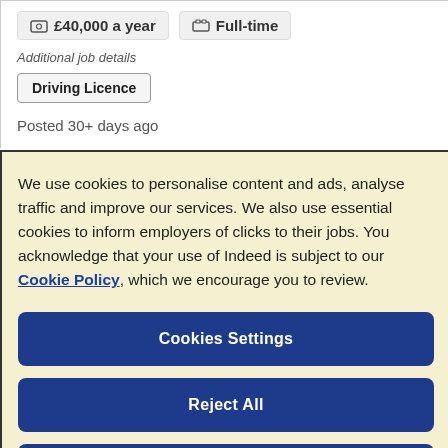£40,000 a year   Full-time
Additional job details
Driving Licence
Posted 30+ days ago
We use cookies to personalise content and ads, analyse traffic and improve our services. We also use essential cookies to inform employers of clicks to their jobs. You acknowledge that your use of Indeed is subject to our Cookie Policy, which we encourage you to review.
Cookies Settings
Reject All
Accept All Cookies